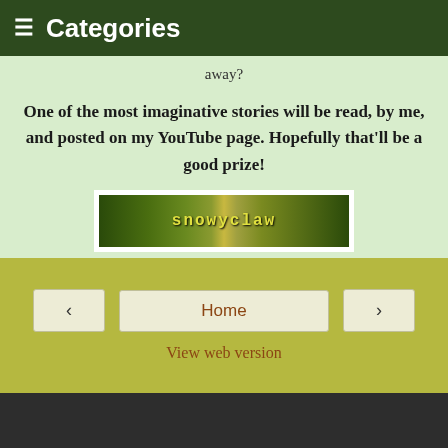≡ Categories
away?
One of the most imaginative stories will be read, by me, and posted on my YouTube page. Hopefully that'll be a good prize!
[Figure (illustration): Banner image with stylized text 'snowyclaw' on a green leafy background]
New art is posted on the Spirit Art mini blog!
Snowyclaw Jamaa at 8:49:00 AM
Home
View web version